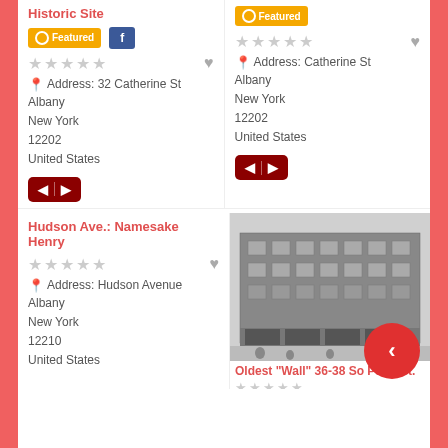Historic Site
Featured (badge), Facebook (badge)
★★★★★ (5 stars, empty)
Address: 32 Catherine St
Albany
New York
12202
United States
Featured (badge)
★★★★★ (5 stars, empty)
Address: Catherine St
Albany
New York
12202
United States
Hudson Ave.: Namesake Henry
★★★★★ (5 stars, empty)
Address: Hudson Avenue
Albany
New York
12210
United States
[Figure (photo): Black and white historical photograph of a multi-story commercial building on Pearl Street, Albany, NY. The building has multiple floors with arched windows and storefronts at street level with people on the sidewalk.]
Oldest "Wall" 36-38 So Pearl St.
★★★★★ (5 stars, empty)